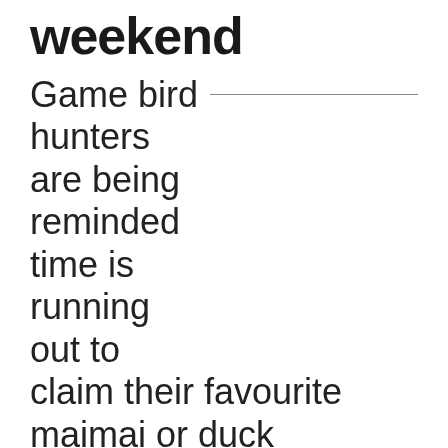weekend
Game bird hunters are being reminded time is running out to claim their favourite maimai or duck shooting spot in time for the start of the new hunting season.
Fish & Game says hunters wanting to retain their favourite site must physically claim it by 10am this Sunday, April 8. If